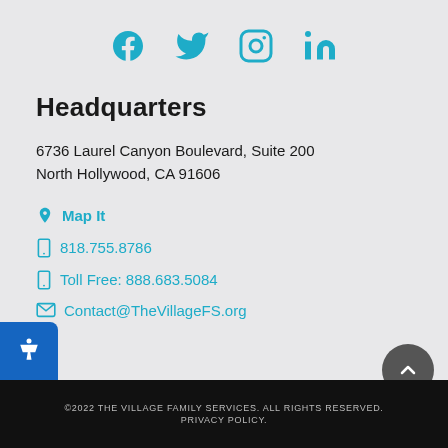[Figure (other): Social media icons: Facebook, Twitter, Instagram, LinkedIn in teal/cyan color]
Headquarters
6736 Laurel Canyon Boulevard, Suite 200
North Hollywood, CA 91606
Map It
818.755.8786
Toll Free: 888.683.5084
Contact@TheVillageFS.org
©2022 THE VILLAGE FAMILY SERVICES. ALL RIGHTS RESERVED.
PRIVACY POLICY.